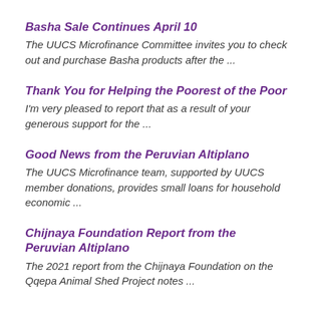Basha Sale Continues April 10
The UUCS Microfinance Committee invites you to check out and purchase Basha products after the ...
Thank You for Helping the Poorest of the Poor
I'm very pleased to report that as a result of your generous support for the ...
Good News from the Peruvian Altiplano
The UUCS Microfinance team, supported by UUCS member donations, provides small loans for household economic ...
Chijnaya Foundation Report from the Peruvian Altiplano
The 2021 report from the Chijnaya Foundation on the Qqepa Animal Shed Project notes ...